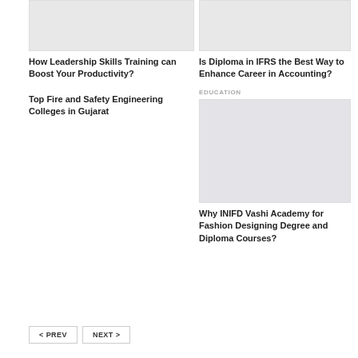[Figure (photo): Thumbnail placeholder image for leadership article (top left)]
How Leadership Skills Training can Boost Your Productivity?
Top Fire and Safety Engineering Colleges in Gujarat
[Figure (photo): Thumbnail placeholder image for IFRS article (top right)]
Is Diploma in IFRS the Best Way to Enhance Career in Accounting?
EDUCATION
[Figure (photo): Thumbnail placeholder image for INIFD Vashi Academy article]
Why INIFD Vashi Academy for Fashion Designing Degree and Diploma Courses?
< PREV   NEXT >